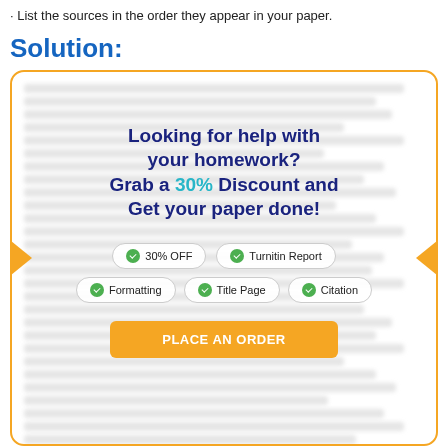· List the sources in the order they appear in your paper.
Solution:
[Figure (infographic): Advertisement box with orange border. Headline: 'Looking for help with your homework? Grab a 30% Discount and Get your paper done!' with badges for 30% OFF, Turnitin Report, Formatting, Title Page, Citation and a 'PLACE AN ORDER' orange button. Background shows blurred text content.]